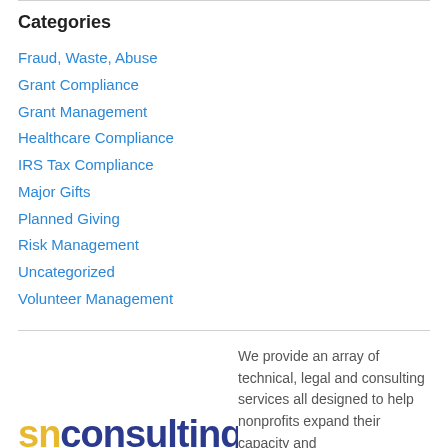Categories
Fraud, Waste, Abuse
Grant Compliance
Grant Management
Healthcare Compliance
IRS Tax Compliance
Major Gifts
Planned Giving
Risk Management
Uncategorized
Volunteer Management
[Figure (logo): snconsulting logo with 'sn' in gold/yellow and 'consulting' in dark navy blue]
We provide an array of technical, legal and consulting services all designed to help nonprofits expand their capacity and